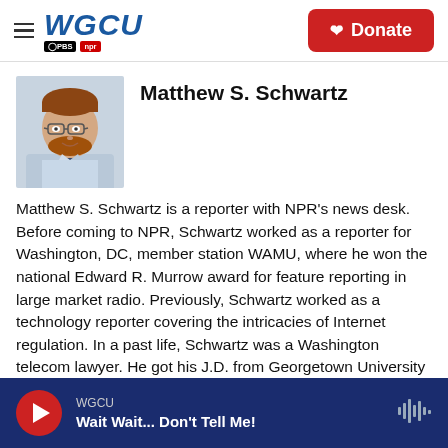WGCU PBS NPR — Donate
Matthew S. Schwartz
[Figure (photo): Headshot of Matthew S. Schwartz, a man with glasses and a beard wearing a light blue shirt and dark tie]
Matthew S. Schwartz is a reporter with NPR's news desk. Before coming to NPR, Schwartz worked as a reporter for Washington, DC, member station WAMU, where he won the national Edward R. Murrow award for feature reporting in large market radio. Previously, Schwartz worked as a technology reporter covering the intricacies of Internet regulation. In a past life, Schwartz was a Washington telecom lawyer. He got his J.D. from Georgetown University Law Center, and his B.A. from the University of Michigan
WGCU — Wait Wait... Don't Tell Me!